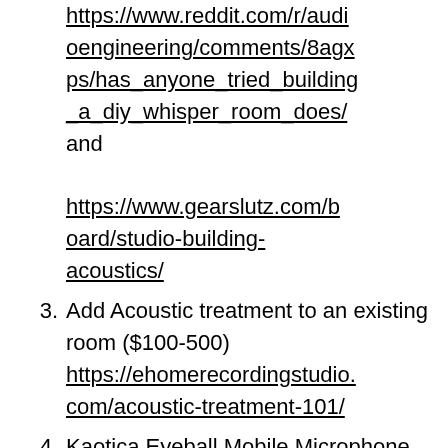https://www.reddit.com/r/audioengineering/comments/8agxps/has_anyone_tried_building_a_diy_whisper_room_does/ and https://www.gearslutz.com/board/studio-building-acoustics/
3. Add Acoustic treatment to an existing room ($100-500) https://ehomerecordingstudio.com/acoustic-treatment-101/
4. Kaotica Eyeball Mobile Microphone Isolation ($200) http://kaoticaeyeball.com